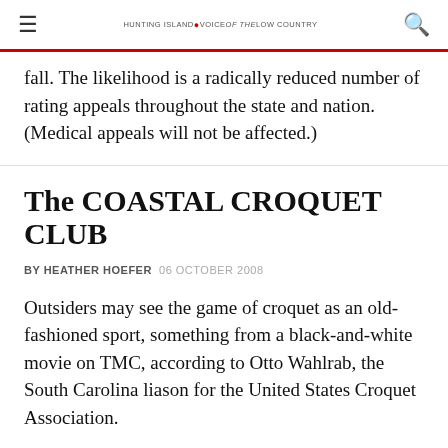≡  HUNTING ISLAND VOICE of the LOW COUNTRY  🔍
fall. The likelihood is a radically reduced number of rating appeals throughout the state and nation. (Medical appeals will not be affected.)
The COASTAL CROQUET CLUB
BY HEATHER HOEFER  06 OCTOBER 2008
Outsiders may see the game of croquet as an old-fashioned sport, something from a black-and-white movie on TMC, according to Otto Wahlrab, the South Carolina liason for the United States Croquet Association.